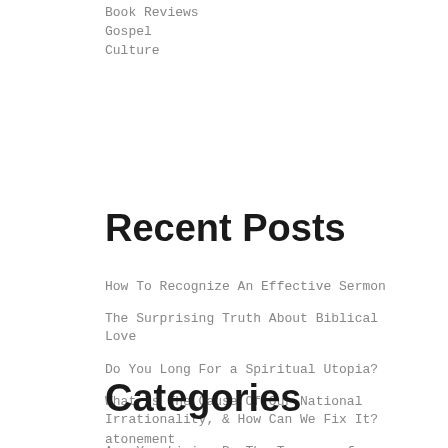Book Reviews
Gospel
Culture
Recent Posts
How To Recognize An Effective Sermon
The Surprising Truth About Biblical Love
Do You Long For a Spiritual Utopia?
What Is The Cause Of Our National Irrationality, & How Can We Fix It?
Are You Living By The Tyranny of Feelings?
Categories
atonement